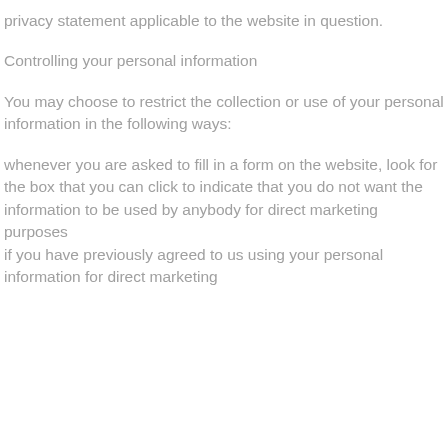privacy statement applicable to the website in question.
Controlling your personal information
You may choose to restrict the collection or use of your personal information in the following ways:
whenever you are asked to fill in a form on the website, look for the box that you can click to indicate that you do not want the information to be used by anybody for direct marketing purposes
if you have previously agreed to us using your personal information for direct marketing